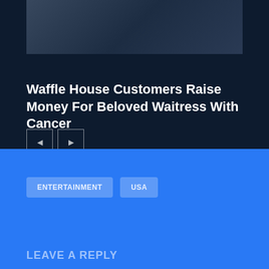[Figure (photo): Dark toned photo of people, partially visible at the top of the card]
Waffle House Customers Raise Money For Beloved Waitress With Cancer
◄ ►
ENTERTAINMENT    USA
LEAVE A REPLY